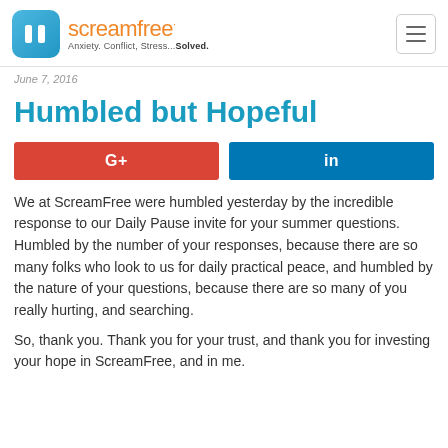screamfree — Anxiety. Conflict, Stress...Solved.
June 7, 2016
Humbled but Hopeful
[Figure (other): Social share buttons: Google+ (red) and LinkedIn (blue)]
We at ScreamFree were humbled yesterday by the incredible response to our Daily Pause invite for your summer questions. Humbled by the number of your responses, because there are so many folks who look to us for daily practical peace, and humbled by the nature of your questions, because there are so many of you really hurting, and searching.
So, thank you. Thank you for your trust, and thank you for investing your hope in ScreamFree, and in me.